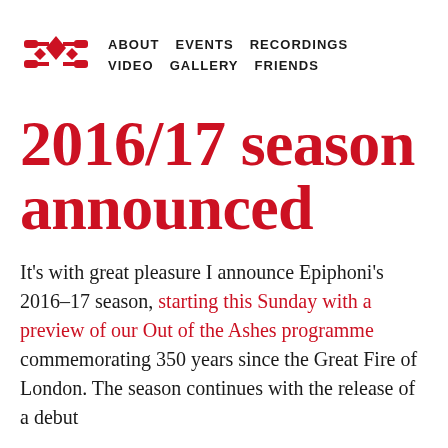ABOUT EVENTS RECORDINGS VIDEO GALLERY FRIENDS
2016/17 season announced
It's with great pleasure I announce Epiphoni's 2016-17 season, starting this Sunday with a preview of our Out of the Ashes programme commemorating 350 years since the Great Fire of London. The season continues with the release of a debut